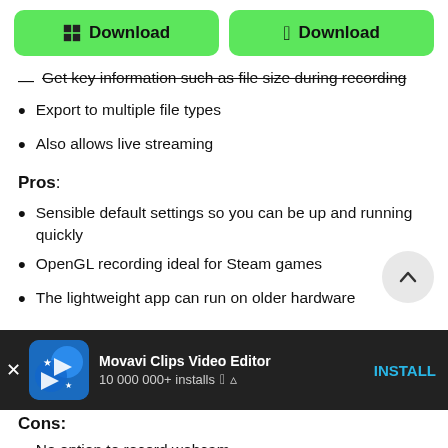[Figure (other): Two green download buttons side by side — one with Windows icon labeled 'Download', one with Apple icon labeled 'Download']
Get key information such as file size during recording
Export to multiple file types
Also allows live streaming
Pros:
Sensible default settings so you can be up and running quickly
OpenGL recording ideal for Steam games
The lightweight app can run on older hardware
[Figure (other): Scroll-to-top circular button with upward chevron arrow]
[Figure (other): Ad banner: Movavi Clips Video Editor, 10 000 000+ installs, Apple and Android icons, INSTALL button]
Cons:
No option to record webcam